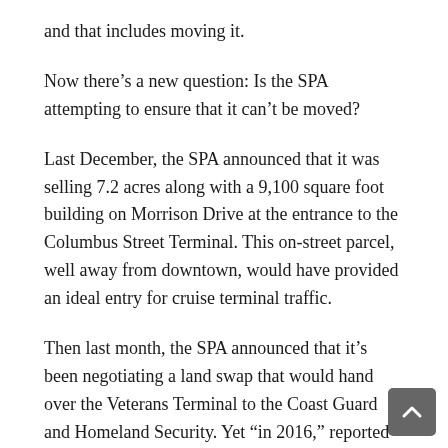and that includes moving it.
Now there’s a new question: Is the SPA attempting to ensure that it can’t be moved?
Last December, the SPA announced that it was selling 7.2 acres along with a 9,100 square foot building on Morrison Drive at the entrance to the Columbus Street Terminal. This on-street parcel, well away from downtown, would have provided an ideal entry for cruise terminal traffic.
Then last month, the SPA announced that it’s been negotiating a land swap that would hand over the Veterans Terminal to the Coast Guard and Homeland Security. Yet “in 2016,” reported the Post and Courier, “the SPA objected to a proposal to locate a new cruise ship facility at Veterans Terminal, saying that repairs would cost